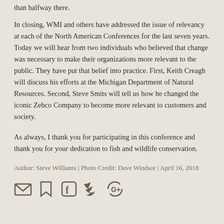than halfway there.
In closing, WMI and others have addressed the issue of relevancy at each of the North American Conferences for the last seven years. Today we will hear from two individuals who believed that change was necessary to make their organizations more relevant to the public. They have put that belief into practice. First, Keith Creagh will discuss his efforts at the Michigan Department of Natural Resources. Second, Steve Smits will tell us how he changed the iconic Zebco Company to become more relevant to customers and society.
As always, I thank you for participating in this conference and thank you for your dedication to fish and wildlife conservation.
Author: Steve Williams | Photo Credit: Dave Windsor | April 16, 2018
[Figure (other): Social media sharing icons: email, bookmark, Facebook, Twitter, Google+]